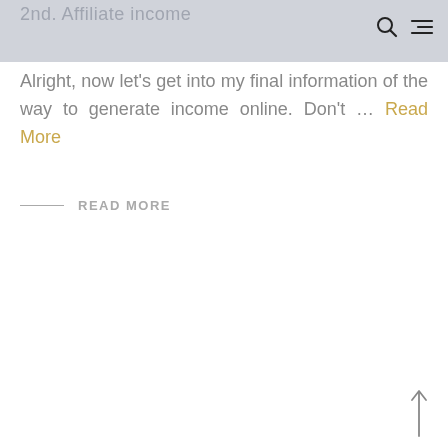2nd. Affiliate income
Alright, now let's get into my final information of the way to generate income online. Don't … Read More
READ MORE